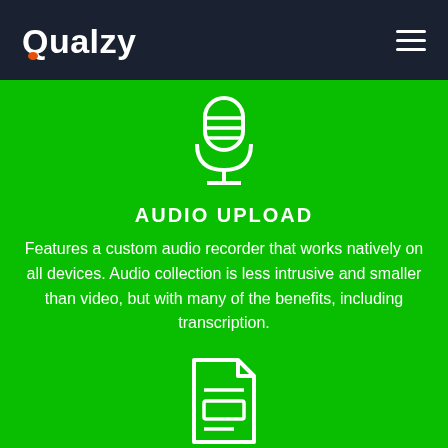Qualzy
[Figure (illustration): White outline microphone icon on green background]
AUDIO UPLOAD
Features a custom audio recorder that works natively on all devices. Audio collection is less intrusive and smaller than video, but with many of the benefits, including transcription.
[Figure (illustration): White outline document/file icon on green background]